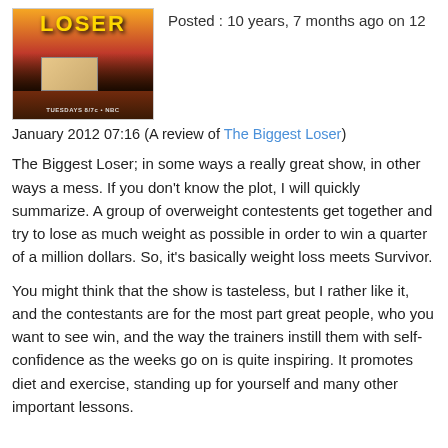[Figure (photo): The Biggest Loser TV show poster with silhouettes and orange/red sky background]
Posted : 10 years, 7 months ago on 12
January 2012 07:16 (A review of The Biggest Loser)
The Biggest Loser; in some ways a really great show, in other ways a mess. If you don't know the plot, I will quickly summarize. A group of overweight contestents get together and try to lose as much weight as possible in order to win a quarter of a million dollars. So, it's basically weight loss meets Survivor.
You might think that the show is tasteless, but I rather like it, and the contestants are for the most part great people, who you want to see win, and the way the trainers instill them with self-confidence as the weeks go on is quite inspiring. It promotes diet and exercise, standing up for yourself and many other important lessons.